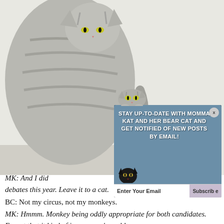[Figure (photo): Gray tabby cat sitting, viewed from the side, on a shelf or surface. The cat is large and fluffy with striped gray fur.]
[Figure (infographic): Email subscription popup with dark blue-gray background. Text reads: STAY UP-TO-DATE WITH MOMMA KAT AND HER BEAR CAT AND GET NOTIFIED OF NEW POSTS BY EMAIL! Below is an email input field and a Subscribe button. Cat illustrations are shown at the top and bottom left of the popup.]
MK: And I did ... ggus than the Presidential debates this year. Leave it to a cat.
BC: Not my circus, not my monkeys.
MK: Hmmm. Monkey being oddly appropriate for both candidates. Except that it kind of is everyone's problem.
BC: Okay, so we've had the part of the bait where we claim